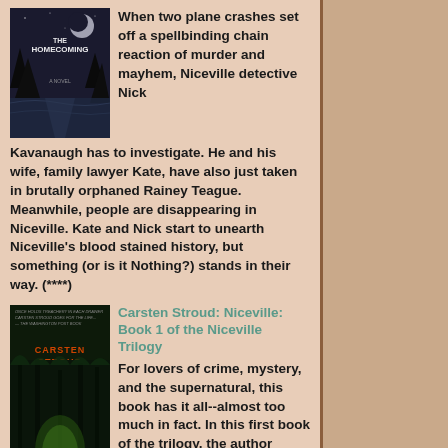[Figure (illustration): Book cover for 'The Homecoming' showing a dark nighttime scene with a lake and trees]
When two plane crashes set off a spellbinding chain reaction of murder and mayhem, Niceville detective Nick Kavanaugh has to investigate. He and his wife, family lawyer Kate, have also just taken in brutally orphaned Rainey Teague. Meanwhile, people are disappearing in Niceville. Kate and Nick start to unearth Niceville's blood stained history, but something (or is it Nothing?) stands in their way. (****)
[Figure (illustration): Book cover for 'Niceville' by Carsten Stroud showing a dark forest scene]
Carsten Stroud: Niceville: Book 1 of the Niceville Trilogy
For lovers of crime, mystery, and the supernatural, this book has it all--almost too much in fact. In this first book of the trilogy, the author introduces so many characters that its often difficult